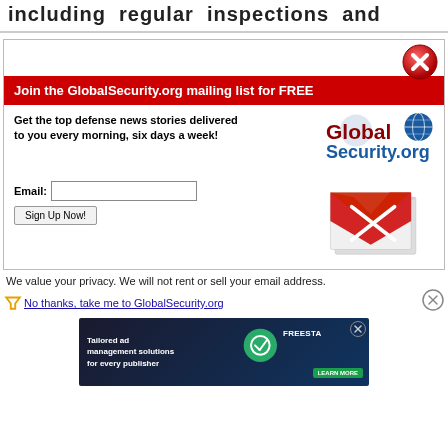including regular inspections and
[Figure (screenshot): GlobalSecurity.org mailing list signup modal with red banner, logo, email input form, envelope graphic, close button, privacy text, and no-thanks link]
We value your privacy. We will not rent or sell your email address.
No thanks, take me to GlobalSecurity.org
[Figure (screenshot): Tailored ad management solutions for every publisher - FreeSTAR advertisement banner]